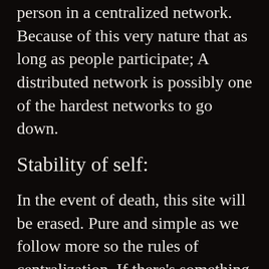person in a centralized network. Because of this very nature that as long as people participate; A distributed network is possibly one of the hardest networks to go down.
Stability of self:
In the event of death, this site will be erased. Pure and simple as we follow more so the rules of centralization. If there’s something you liked from this site we hope it inspires you to make your own blog or centralized network. But in general, we’re not out to start a cult. Now, as for those internet archive sites. Those people are riding a fine line between archiving data and content theft. There’s not much to say to assholes that jack your data ˄ except that like what will happen to us it will eventually happen to them as well. Time kills us all